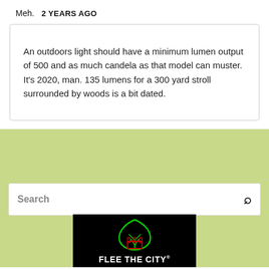Meh.   2 YEARS AGO
An outdoors light should have a minimum lumen output of 500 and as much candela as that model can muster. It's 2020, man. 135 lumens for a 300 yard stroll surrounded by woods is a bit dated.
[Figure (screenshot): Search bar with placeholder text 'Search' and a magnifying glass icon on a light green background, with a 'FLEE THE CITY' logo below on black background with green leaf and red castle icon.]